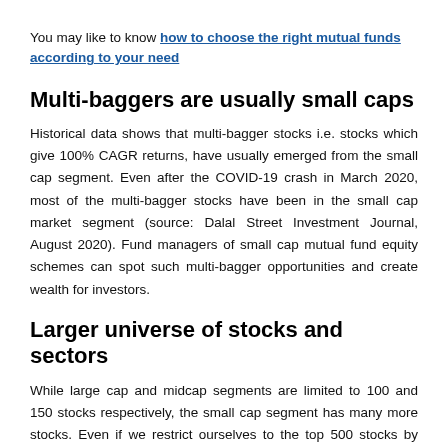You may like to know how to choose the right mutual funds according to your need
Multi-baggers are usually small caps
Historical data shows that multi-bagger stocks i.e. stocks which give 100% CAGR returns, have usually emerged from the small cap segment. Even after the COVID-19 crash in March 2020, most of the multi-bagger stocks have been in the small cap market segment (source: Dalal Street Investment Journal, August 2020). Fund managers of small cap mutual fund equity schemes can spot such multi-bagger opportunities and create wealth for investors.
Larger universe of stocks and sectors
While large cap and midcap segments are limited to 100 and 150 stocks respectively, the small cap segment has many more stocks. Even if we restrict ourselves to the top 500 stocks by market capitalization, small cap segment…